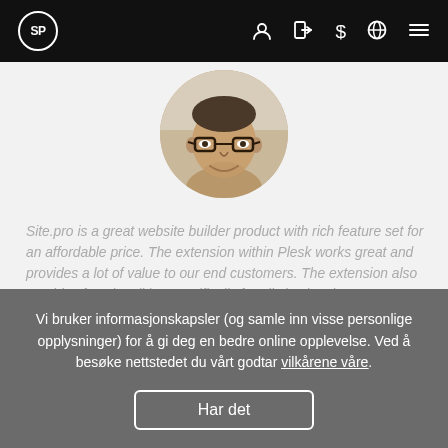SP | navigation icons
[Figure (photo): Circular cropped headshot of a man wearing glasses, smiling, against a light background.]
Site.pro is a great website builder product with rich feature set for an affordable price. The extension within Plesk works great and provides a lot of value to our end customers. The extension also provides functionalities specifically for all size hosting
Vi bruker informasjonskapsler (og samle inn visse personlige opplysninger) for å gi deg en bedre online opplevelse. Ved å besøke nettstedet du vårt godtar vilkårene våre.
Har det